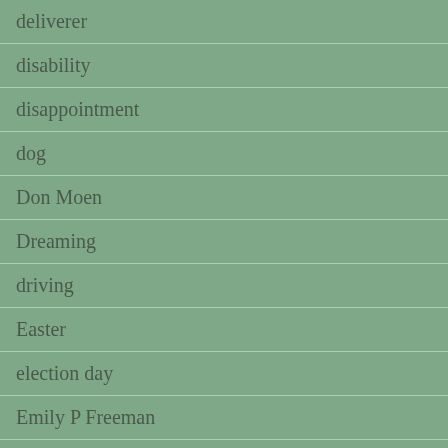deliverer
disability
disappointment
dog
Don Moen
Dreaming
driving
Easter
election day
Emily P Freeman
Emmanuel
empty